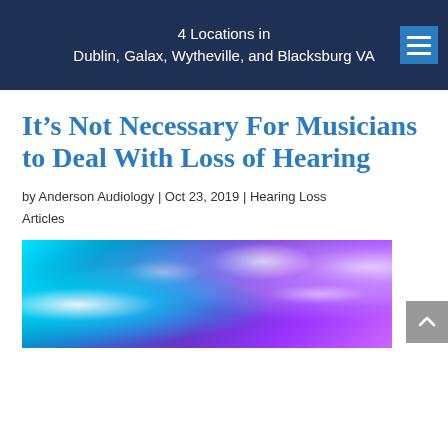4 Locations in
Dublin, Galax, Wytheville, and Blacksburg VA
It’s Not Necessary For Musicians to Deal With Loss of Hearing
by Anderson Audiology | Oct 23, 2019 | Hearing Loss Articles
[Figure (photo): Concert stage with bright blue and purple spotlight beams shining outward]